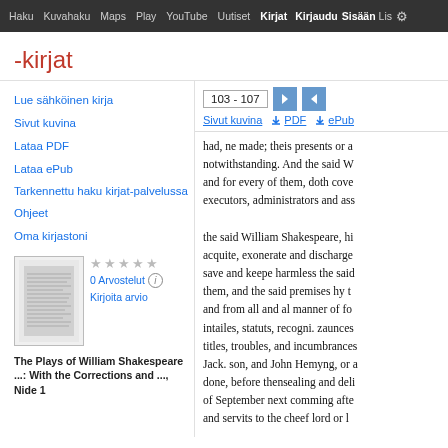Haku  Kuvahaku  Maps  Play  YouTube  Uutiset  Kirjat  Kirjaudu Sisäänlisää  ⚙
-kirjat
103 - 107
Sivut kuvina  ↓ PDF  ↓ ePub
Lue sähköinen kirja
Sivut kuvina
Lataa PDF
Lataa ePub
Tarkennettu haku kirjat-palvelussa
Ohjeet
Oma kirjastoni
[Figure (illustration): Thumbnail of book cover for The Plays of William Shakespeare]
★★★★★
0 Arvostelut ⓘ
Kirjoita arvio
The Plays of William Shakespeare ...: With the Corrections and ..., Nide 1
had, ne made; theis presents or a notwithstanding. And the said W and for every of them, doth cove executors, administrators and ass the said William Shakespeare, hi acquite, exonerate and discharge save and keepe harmless the said them, and the said premises hy t and from all and al manner of fo intailes, statuts, recogni. zaunces titles, troubles, and incumbrances Jack. son, and John Hemyng, or a done, before thensealing and deli of September next comming afte and servits to the cheef lord or l